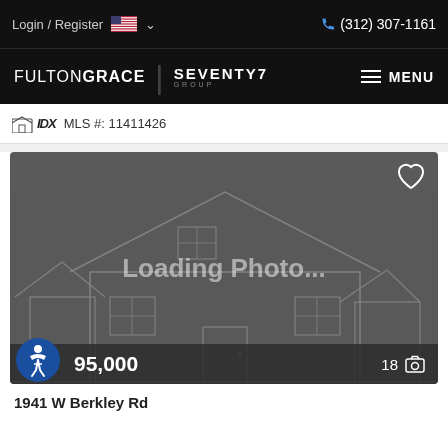Login / Register  (312) 307-1161
[Figure (logo): FultonGrace | Seventy7 Group logo with MENU button]
IDX MLS #: 11411426
[Figure (photo): Loading Photo... placeholder with house outline illustration. Shows price $395,000 and 18 photos count at bottom.]
1941 W Berkley Rd